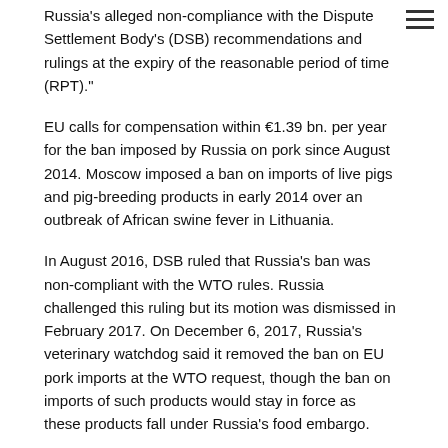Russia's alleged non-compliance with the Dispute Settlement Body's (DSB) recommendations and rulings at the expiry of the reasonable period of time (RPT)."
EU calls for compensation within €1.39 bn. per year for the ban imposed by Russia on pork since August 2014. Moscow imposed a ban on imports of live pigs and pig-breeding products in early 2014 over an outbreak of African swine fever in Lithuania.
In August 2016, DSB ruled that Russia's ban was non-compliant with the WTO rules. Russia challenged this ruling but its motion was dismissed in February 2017. On December 6, 2017, Russia's veterinary watchdog said it removed the ban on EU pork imports at the WTO request, though the ban on imports of such products would stay in force as these products fall under Russia's food embargo.
Russia adopted a set of countermeasures on 7 August, 2014, as a response to the sanctions imposed by the European Union and the United States for the development in Ukraine crisis. On 6 December, 2017, the WTO arbitration court ruled that the dispute should be completed within 60 days.